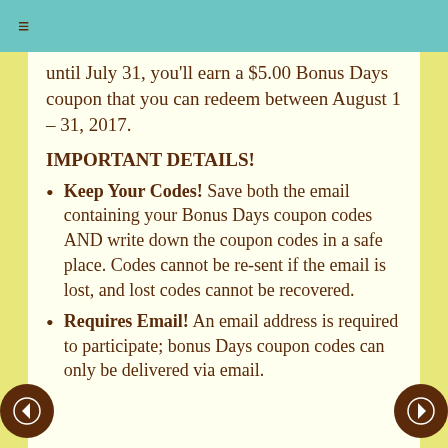≡
until July 31, you'll earn a $5.00 Bonus Days coupon that you can redeem between August 1 – 31, 2017.
IMPORTANT DETAILS!
Keep Your Codes!  Save both the email containing your Bonus Days coupon codes AND write down the coupon codes in a safe place. Codes cannot be re-sent if the email is lost, and lost codes cannot be recovered.
Requires Email!  An email address is required to participate; bonus Days coupon codes can only be delivered via email.